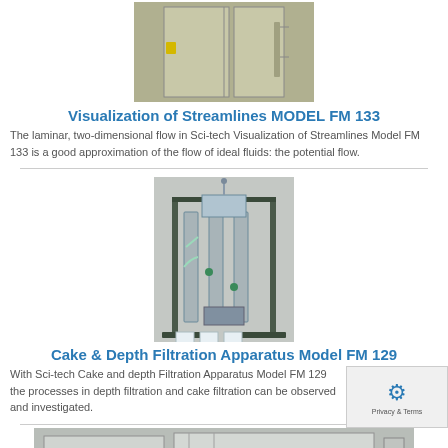[Figure (photo): Top portion of Visualization of Streamlines Model FM 133 equipment — cabinet-like apparatus]
Visualization of Streamlines MODEL FM 133
The laminar, two-dimensional flow in Sci-tech Visualization of Streamlines Model FM 133 is a good approximation of the flow of ideal fluids: the potential flow.
[Figure (photo): Cake & Depth Filtration Apparatus Model FM 129 — tall framed filtration unit with columns, tubing, and collection beakers]
Cake & Depth Filtration Apparatus Model FM 129
With Sci-tech Cake and depth Filtration Apparatus Model FM 129 the processes in depth filtration and cake filtration can be observed and investigated.
[Figure (photo): Partial view of a third product apparatus at the bottom of the page]